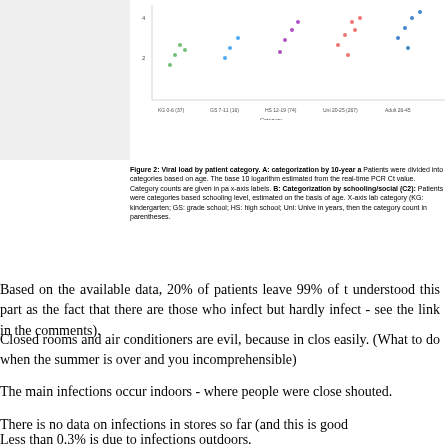[Figure (continuous-plot): Scatter/dot plot showing viral load by patient category. X-axis shows categories: KG 0-6 (37), GS 7-11 (16), HS 12-19 (74), Uni 20-25 (267), Adult 26-45. Y-axis shows values from 2 to 4+. Part B of Figure 2.]
Figure 2: Viral load by patient category. A: categorization by 10-year a... Patients were divided into categories based on age. The base 10 logarithm estimated from the real-time PCR Ct value. Category counts are given in pa... x-axis labels. B: Categorization by schooling/social (C2): Patients were ... categories based schooling level, estimated on the basis of age. X-axis lab... category (KG: kindergarten; GS: grade school; HS: high school; Uni: Unive... in years, then the category count in parentheses.
Based on the available data, 20% of patients leave 99% of t... understood this part as the fact that there are those who infect... but hardly infect - see the link in the comments).
Closed rooms and air conditioners are evil, because in clos... easily. (What to do when the summer is over and you ... incomprehensible)
The main infections occur indoors - where people were close... shouted.
There is no data on infections in stores so far (and this is good...
Less than 0.3% is due to infections outdoors.